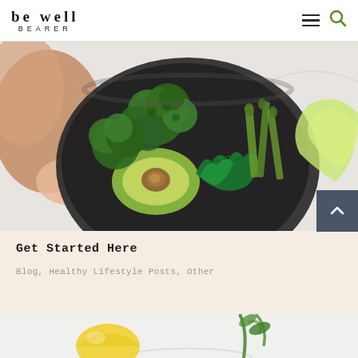be well BEARER
[Figure (photo): Overhead view of a dark bowl filled with broccoli florets, halved avocado, parsley, asparagus and other green vegetables, held by a hand on a marble surface]
Get Started Here
Blog, Healthy Lifestyle Posts, Other
[Figure (photo): Partial view of a glass with a lemon and green plant stems in the background, on a light background]